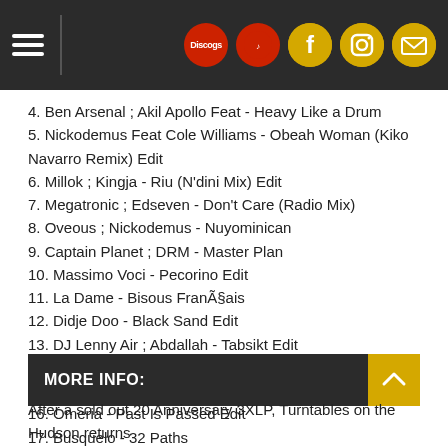Navigation header with Discogs, social media icons
4. Ben Arsenal ; Akil Apollo Feat - Heavy Like a Drum
5. Nickodemus Feat Cole Williams - Obeah Woman (Kiko Navarro Remix) Edit
6. Millok ; Kingja - Riu (N'dini Mix) Edit
7. Megatronic ; Edseven - Don't Care (Radio Mix)
8. Oveous ; Nickodemus - Nuyominican
9. Captain Planet ; DRM - Master Plan
10. Massimo Voci - Pecorino Edit
11. La Dame - Bisous Français
12. Didje Doo - Black Sand Edit
13. DJ Lenny Air ; Abdallah - Tabsikt Edit
14. Vitu Valera ; Mikongo - Mamakumba
15. Wichy de Vedado - Mototanke
16. Omeria - Past Is Passed Edit
17. Busquelo - 32 Paths
MORE INFO:
After a sold out 20 Anniversary 3XLP, Turntables on the Hudson returns